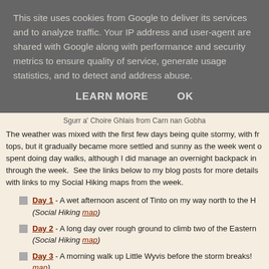This site uses cookies from Google to deliver its services and to analyze traffic. Your IP address and user-agent are shared with Google along with performance and security metrics to ensure quality of service, generate usage statistics, and to detect and address abuse.
LEARN MORE    OK
Sgurr a' Choire Ghlais from Carn nan Gobha
The weather was mixed with the first few days being quite stormy, with fr tops, but it gradually became more settled and sunny as the week went o spent doing day walks, although I did manage an overnight backpack in through the week.  See the links below to my blog posts for more details with links to my Social Hiking maps from the week.
Day 1 - A wet afternoon ascent of Tinto on my way north to the H (Social Hiking map)
Day 2 - A long day over rough ground to climb two of the Eastern (Social Hiking map)
Day 3 - A morning walk up Little Wyvis before the storm breaks! map)
Day 4 morning - Creag Dhubh: A rocky peak with excellent view Mountains (Social Hiking map)
Day 4 evening - The walk-in to Luib-Chonnal bothy and the che